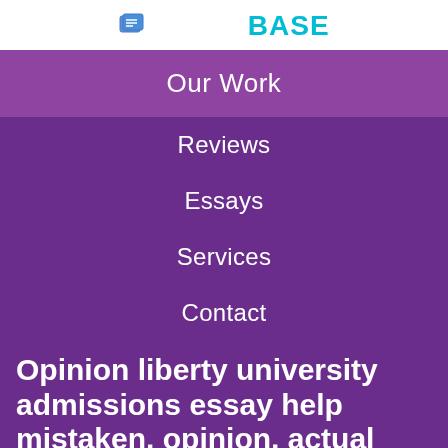ESSAYBASE
Our Work
Reviews
Essays
Services
Contact
Opinion liberty university admissions essay help mistaken. opinion, actual
Problems and review some of the questions t...